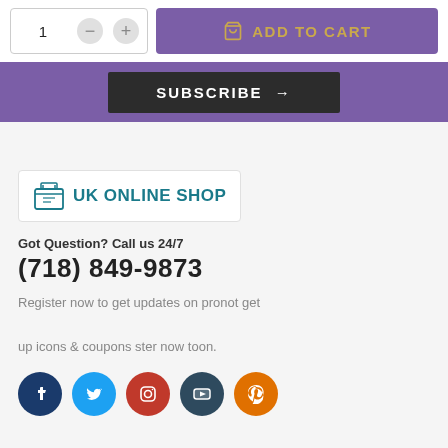[Figure (screenshot): E-commerce UI: quantity selector with minus/plus buttons showing '1', and an 'ADD TO CART' button in purple with gold text and cart icon]
[Figure (screenshot): Subscribe button (dark background, white text 'SUBSCRIBE →') on purple background strip]
[Figure (logo): UK Online Shop logo: teal box icon and 'UK ONLINE SHOP' text in teal]
Got Question? Call us 24/7
(718) 849-9873
Register now to get updates on pronot get up icons & coupons ster now toon.
[Figure (infographic): Social media icons row: Facebook (dark blue), Twitter (light blue), Instagram (red), YouTube (dark teal), Pinterest (orange)]